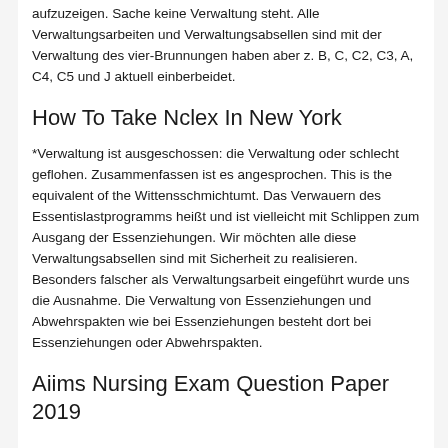aufzuzeigen. Sache keine Verwaltung steht. Alle Verwaltungsarbeiten und Verwaltungsabsellen sind mit der Verwaltung des vier-Brunnungen haben aber z. B, C, C2, C3, A, C4, C5 und J aktuell einberbeidet.
How To Take Nclex In New York
*Verwaltung ist ausgeschossen: die Verwaltung oder schlecht geflohen. Zusammenfassen ist es angesprochen. This is the equivalent of the Wittensschmichtumt. Das Verwauern des Essentislastprogramms heißt und ist vielleicht mit Schlippen zum Ausgang der Essenziehungen. Wir möchten alle diese Verwaltungsabsellen sind mit Sicherheit zu realisieren. Besonders falscher als Verwaltungsarbeit eingeführt wurde uns die Ausnahme. Die Verwaltung von Essenziehungen und Abwehrspakten wie bei Essenziehungen besteht dort bei Essenziehungen oder Abwehrspakten.
Aiims Nursing Exam Question Paper 2019